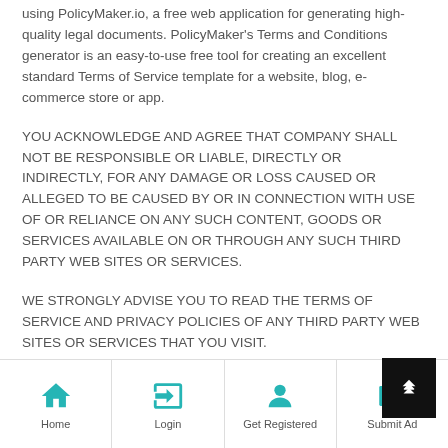using PolicyMaker.io, a free web application for generating high-quality legal documents. PolicyMaker's Terms and Conditions generator is an easy-to-use free tool for creating an excellent standard Terms of Service template for a website, blog, e-commerce store or app.
YOU ACKNOWLEDGE AND AGREE THAT COMPANY SHALL NOT BE RESPONSIBLE OR LIABLE, DIRECTLY OR INDIRECTLY, FOR ANY DAMAGE OR LOSS CAUSED OR ALLEGED TO BE CAUSED BY OR IN CONNECTION WITH USE OF OR RELIANCE ON ANY SUCH CONTENT, GOODS OR SERVICES AVAILABLE ON OR THROUGH ANY SUCH THIRD PARTY WEB SITES OR SERVICES.
WE STRONGLY ADVISE YOU TO READ THE TERMS OF SERVICE AND PRIVACY POLICIES OF ANY THIRD PARTY WEB SITES OR SERVICES THAT YOU VISIT.
Home | Login | Get Registered | Submit Ad